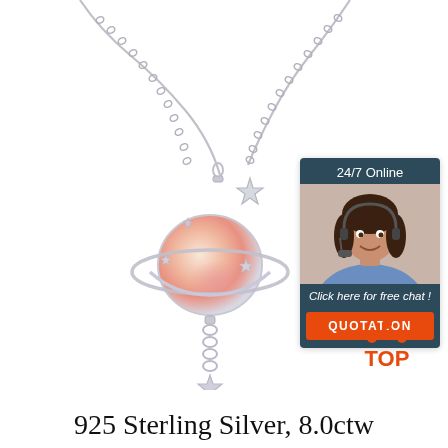[Figure (photo): Product photo of a 925 sterling silver planet necklace with opalite stone, star charms, and dangling chain. The pendant features a Saturn-like planet with a pink/peach gemstone center, orbited by a silver ring and star accents. The necklace chain extends from the top. Background is white.]
[Figure (infographic): Customer service chat widget with dark blue-gray background. Header reads '24/7 Online'. Shows a woman with headset smiling. Text: 'Click here for free chat !' and an orange button with 'QUOTATION'.]
[Figure (logo): TOP logo with orange dot triangle above the word TOP in orange text.]
925 Sterling Silver, 8.0ctw